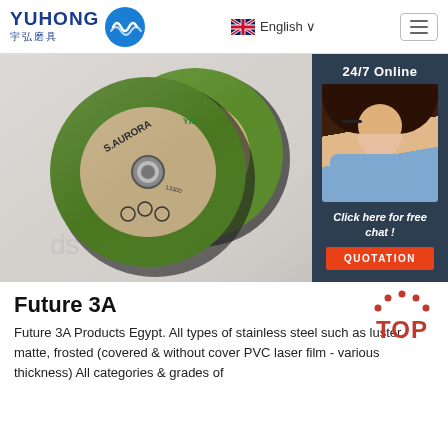YUHONG 宇弘磨具 | English | Menu
[Figure (photo): Two green and grey grinding/cutting discs (S.AURORA brand) photographed close-up on white background, with a customer service chat overlay on the right showing a female agent with headset, '24/7 Online' text, 'Click here for free chat!' text, and an orange QUOTATION button]
Future 3A
Future 3A Products Egypt. All types of stainless steel such as luster, matte, frosted (covered & without cover PVC laser film - various thickness) All categories & grades of